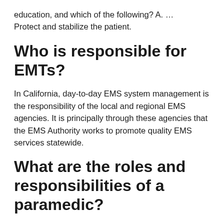education, and which of the following? A. … Protect and stabilize the patient.
Who is responsible for EMTs?
In California, day-to-day EMS system management is the responsibility of the local and regional EMS agencies. It is principally through these agencies that the EMS Authority works to promote quality EMS services statewide.
What are the roles and responsibilities of a paramedic?